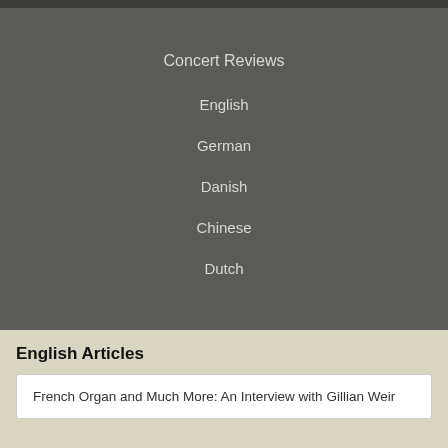Concert Reviews
English
German
Danish
Chinese
Dutch
English Articles
French Organ and Much More: An Interview with Gillian Weir